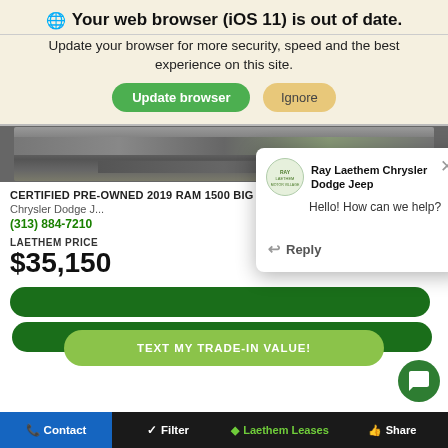Your web browser (iOS 11) is out of date.
Update your browser for more security, speed and the best experience on this site.
[Figure (screenshot): Browser update banner with two buttons: 'Update browser' (green) and 'Ignore' (tan/gold)]
[Figure (photo): Partial car photo showing pavement/gravel, top portion of a truck]
CERTIFIED PRE-OWNED 2019 RAM 1500 BIG HORN/LONE STAR 4WD Ray Laethem
Chrysler Dodge J...
(313) 884-7210
LAETHEM PRICE
$35,150
[Figure (screenshot): Chat popup from Ray Laethem Chrysler Dodge Jeep saying 'Hello! How can we help?' with a Reply button]
Ray Laethem Chrysler Dodge Jeep
Hello! How can we help?
Reply
TEXT MY TRADE-IN VALUE!
Contact  |  Filter  |  Laethem Leases  |  Share